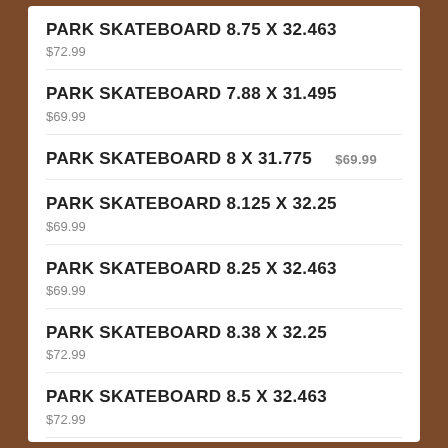PARK SKATEBOARD 8.75 X 32.463
$72.99
PARK SKATEBOARD 7.88 X 31.495
$69.99
PARK SKATEBOARD 8 X 31.775
$69.99
PARK SKATEBOARD 8.125 X 32.25
$69.99
PARK SKATEBOARD 8.25 X 32.463
$69.99
PARK SKATEBOARD 8.38 X 32.25
$72.99
PARK SKATEBOARD 8.5 X 32.463
$72.99
3 DECK CUSTOM SKATEBOARD MURAL
$209.99